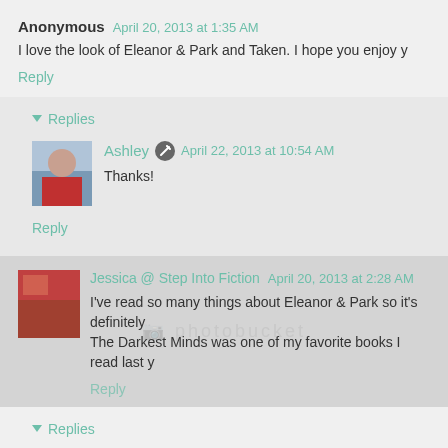Anonymous  April 20, 2013 at 1:35 AM
I love the look of Eleanor & Park and Taken. I hope you enjoy y
Reply
Replies
Ashley  April 22, 2013 at 10:54 AM
Thanks!
Reply
Jessica @ Step Into Fiction  April 20, 2013 at 2:28 AM
I've read so many things about Eleanor & Park so it's definitely on The Darkest Minds was one of my favorite books I read last y
Reply
Replies